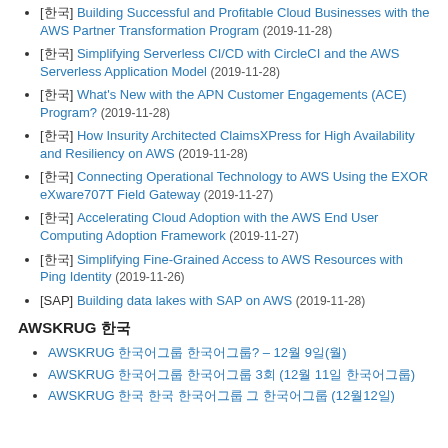[한국] Building Successful and Profitable Cloud Businesses with the AWS Partner Transformation Program (2019-11-28)
[한국] Simplifying Serverless CI/CD with CircleCI and the AWS Serverless Application Model (2019-11-28)
[한국] What's New with the APN Customer Engagements (ACE) Program? (2019-11-28)
[한국] How Insurity Architected ClaimsXPress for High Availability and Resiliency on AWS (2019-11-28)
[한국] Connecting Operational Technology to AWS Using the EXOR eXware707T Field Gateway (2019-11-27)
[한국] Accelerating Cloud Adoption with the AWS End User Computing Adoption Framework (2019-11-27)
[한국] Simplifying Fine-Grained Access to AWS Resources with Ping Identity (2019-11-26)
[SAP] Building data lakes with SAP on AWS (2019-11-28)
AWSKRUG 한국
AWSKRUG 한국어그룹 한국어그룹? – 12월 9일(월)
AWSKRUG 한국어그룹 한국어그룹 3회 (12월 11일 한국어그룹)
AWSKRUG 한국 한국 한국어그룹 그 한국어그룹 (12월12일)